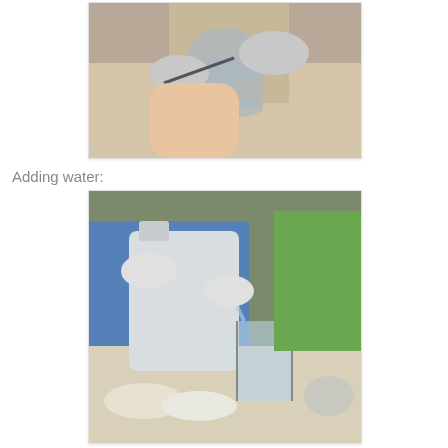[Figure (photo): Person wearing white latex gloves using a spoon or tool to mix/measure something in a glass jar on a surface]
Adding water:
[Figure (photo): Person pouring water from a large white plastic jug into a glass beaker, with various containers including jars and bowls visible on the table, another person in green shirt visible in background]